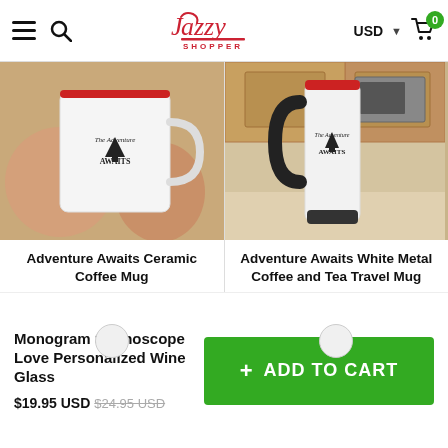Jazzy Shopper — USD — Cart (0)
[Figure (photo): Hand holding a white ceramic coffee mug with 'The Adventure Awaits' text and forest graphic]
Adventure Awaits Ceramic Coffee Mug
$10.95  $29.95
[Figure (photo): White metal travel mug with black handle and 'The Adventure Awaits' text on a kitchen counter]
Adventure Awaits White Metal Coffee and Tea Travel Mug
$19.95  $39.95
Monogram Stethoscope Love Personalized Wine Glass
$19.95 USD  $24.95 USD
+ ADD TO CART